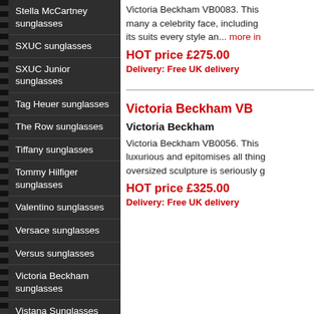Stella McCartney sunglasses
SXUC sunglasses
SXUC Junior sunglasses
Tag Heuer sunglasses
The Row sunglasses
Tiffany sunglasses
Tommy Hilfiger sunglasses
Valentino sunglasses
Versace sunglasses
Versus sunglasses
Victoria Beckham sunglasses
Vistana Sunglasses sunglasses
Vivienne Westwood sunglasses
Vogue sunglasses
Victoria Beckham VB0083. This many a celebrity face, including its suits every style an... more in
HOT price £275.00
Delivery: Free UK delivery
Victoria Beckham VB
Victoria Beckham
Victoria Beckham VB0056. This luxurious and epitomises all thing oversized sculpture is seriously g
HOT price £325.00
Delivery: Free UK delivery